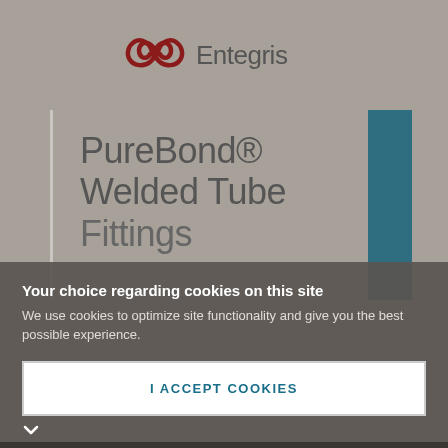[Figure (logo): Entegris logo with dark red double-loop icon and gray 'Entegris' wordmark]
PureBond® Welded Tube Fittings
Your choice regarding cookies on this site
We use cookies to optimize site functionality and give you the best possible experience.
I ACCEPT COOKIES
SETTINGS